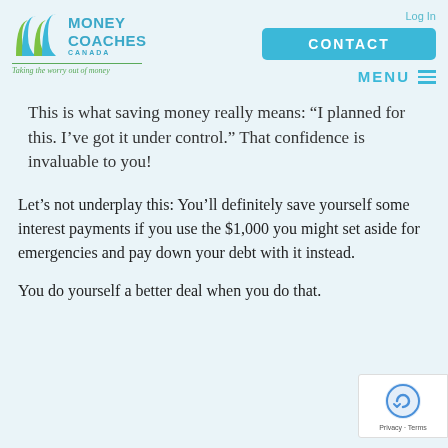[Figure (logo): Money Coaches Canada logo with teal and green arch shapes, text 'MONEY COACHES CANADA' and tagline 'Taking the worry out of money']
Log In
CONTACT
MENU
This is what saving money really means: 'I planned for this. I've got it under control.' That confidence is invaluable to you!
Let's not underplay this: You'll definitely save yourself some interest payments if you use the $1,000 you might set aside for emergencies and pay down your debt with it instead.
You do yourself a better deal when you do that.